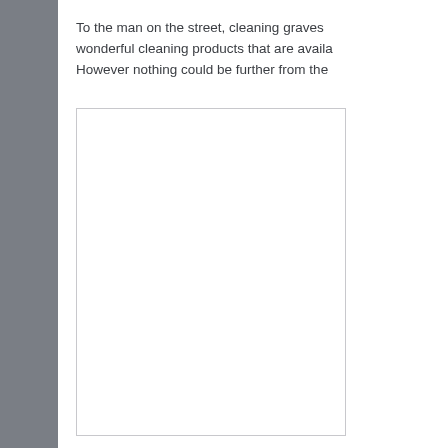To the man on the street, cleaning graves wonderful cleaning products that are availa However nothing could be further from the
[Figure (other): A blank white rectangular image placeholder with a light gray border]